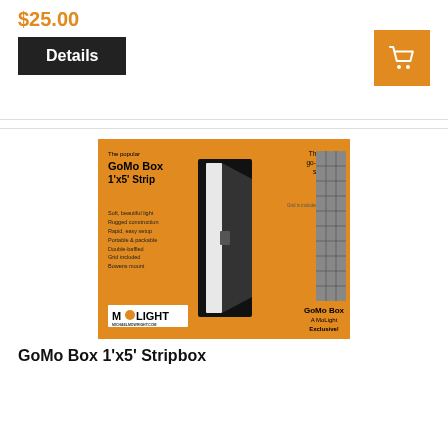$25.00
Details
[Figure (infographic): GoMo Box 1'x5' Strip softbox product promotional image with orange background, showing the stripbox and grid attachment. Features listed: Soft, beautiful light; Rugged construction; Rapid, easy setup; Portable & packable; Double-baffled; Grid included; Bowens mount. MoLight logo and text 'GoMo Box A MoLight Exclusive!']
GoMo Box 1'x5' Stripbox